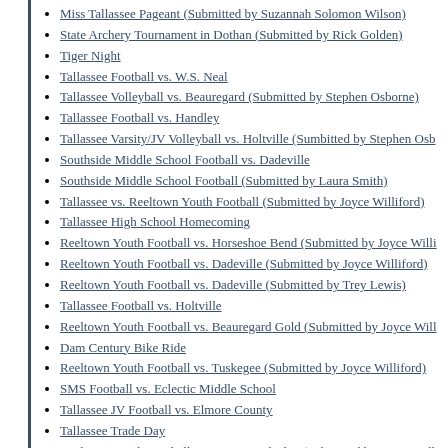Miss Tallassee Pageant (Submitted by Suzannah Solomon Wilson)
State Archery Tournament in Dothan (Submitted by Rick Golden)
Tiger Night
Tallassee Football vs. W.S. Neal
Tallassee Volleyball vs. Beauregard (Submitted by Stephen Osborne)
Tallassee Football vs. Handley
Tallassee Varsity/JV Volleyball vs. Holtville (Sumbitted by Stephen Osb…
Southside Middle School Football vs. Dadeville
Southside Middle School Football (Submitted by Laura Smith)
Tallassee vs. Reeltown Youth Football (Submitted by Joyce Williford)
Tallassee High School Homecoming
Reeltown Youth Football vs. Horseshoe Bend (Submitted by Joyce Willi…
Reeltown Youth Football vs. Dadeville (Submitted by Joyce Williford)
Reeltown Youth Football vs. Dadeville (Submitted by Trey Lewis)
Tallassee Football vs. Holtville
Reeltown Youth Football vs. Beauregard Gold (Submitted by Joyce Will…
Dam Century Bike Ride
Reeltown Youth Football vs. Tuskegee (Submitted by Joyce Williford)
SMS Football vs. Eclectic Middle School
Tallassee JV Football vs. Elmore County
Tallassee Trade Day
Reeltown Youth Football vs. Beauregard Blue (Submitted by Joyce Will…
Reeltown Youth Football First Round of Playoffs (Submitted by Joyce W…
Tallassee Football vs. Hale County (Submitted by Kyle Thornton)
Tallassee Football vs. Andalusia